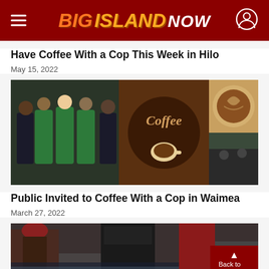Big Island Now
Have Coffee With a Cop This Week in Hilo
May 15, 2022
[Figure (photo): Coffee With a Cop promotional image showing Starbucks employees in green aprons with police officers on the left, a 'Coffee' sign in the center, and a latte art coffee cup on the upper right]
Public Invited to Coffee With a Cop in Waimea
March 27, 2022
[Figure (photo): People standing in a coffee shop or similar venue, partially visible, with a Back to Top button overlay in the bottom right corner]